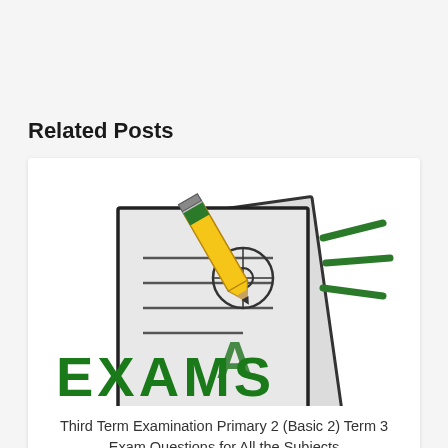Related Posts
[Figure (illustration): Illustration of exam papers with a pencil on top and the word EXAMS in large green bold letters at the bottom]
Third Term Examination Primary 2 (Basic 2) Term 3 Exam Questions for All the Subjects